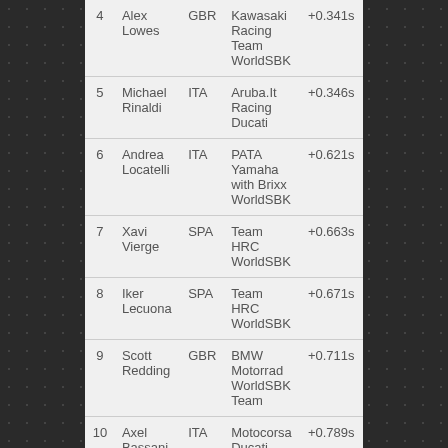| Pos | Name | Nat | Team | Gap |
| --- | --- | --- | --- | --- |
| 4 | Alex Lowes | GBR | Kawasaki Racing Team WorldSBK | +0.341s |
| 5 | Michael Rinaldi | ITA | Aruba.It Racing Ducati | +0.346s |
| 6 | Andrea Locatelli | ITA | PATA Yamaha with Brixx WorldSBK | +0.621s |
| 7 | Xavi Vierge | SPA | Team HRC WorldSBK | +0.663s |
| 8 | Iker Lecuona | SPA | Team HRC WorldSBK | +0.671s |
| 9 | Scott Redding | GBR | BMW Motorrad WorldSBK Team | +0.711s |
| 10 | Axel Bassani | ITA | Motocorsa Ducati | +0.789s |